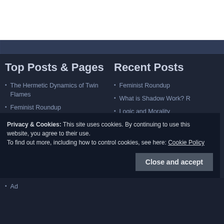Top Posts & Pages
The Hermetic Dynamics of Twin Flames
Feminist Roundup
What Does Balance and Neutrality Really Mean?
Logic Before Grammar: Putting the Cart Before the Horse
Recent Posts
Feminist Roundup
What is Shadow Work? R
Logic and Morality
Is Communism Fueled by Hatred?
Former NFL QB Jake Plu Discovers Mushroom Far
Privacy & Cookies: This site uses cookies. By continuing to use this website, you agree to their use.
To find out more, including how to control cookies, see here: Cookie Policy
Close and accept
Ad